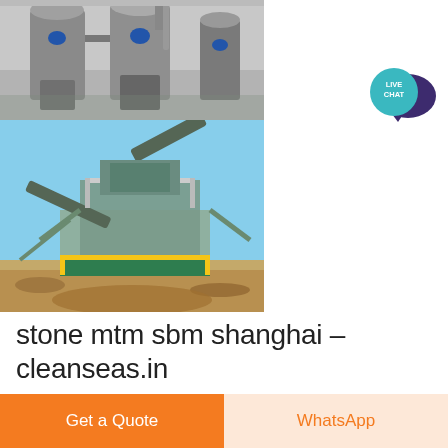[Figure (photo): Two industrial machinery photos stacked vertically on the left: top photo shows large gray industrial silos/hoppers with blue fittings in an indoor facility; bottom photo shows an outdoor mining/crushing plant with conveyors, green-painted steel structures, and yellow safety railings on sandy/rocky terrain under blue sky.]
[Figure (logo): Live Chat bubble icon in teal/turquoise color with dark purple speech bubble overlay, text 'LIVE CHAT' in white inside teal circle, positioned top right.]
stone mtm sbm shanghai - cleanseas.in
Get a Quote
WhatsApp